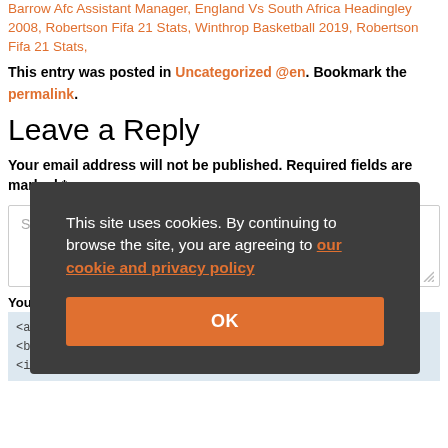Barrow Afc Assistant Manager, England Vs South Africa Headingley 2008, Robertson Fifa 21 Stats, Winthrop Basketball 2019, Robertson Fifa 21 Stats,
This entry was posted in Uncategorized @en. Bookmark the permalink.
Leave a Reply
Your email address will not be published. Required fields are marked *
Start typing...
You may use these HTML tags and attributes:
<a href="" title=""> <abbr title=""> <acronym title=""> <b> <blockquote cite=""> <cite> <code> <del datetime=""> <em> <i> <q cite=""> <s> <strike> <strong>
This site uses cookies. By continuing to browse the site, you are agreeing to our cookie and privacy policy
OK